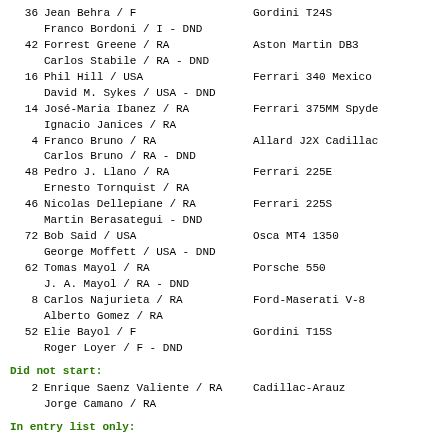36 Jean Behra / F  Gordini T24S
   Franco Bordoni / I - DND
42 Forrest Greene / RA  Aston Martin DB3
   Carlos Stabile / RA - DND
16 Phil Hill / USA  Ferrari 340 Mexico
   David M. Sykes / USA - DND
14 José-Maria Ibanez / RA  Ferrari 375MM Spyde
   Ignacio Janices / RA
4 Franco Bruno / RA  Allard J2X Cadillac
   Carlos Bruno / RA - DND
48 Pedro J. Llano / RA  Ferrari 225E
   Ernesto Tornquist / RA
46 Nicolas Dellepiane / RA  Ferrari 225S
   Martin Berasategui - DND
72 Bob Said / USA  Osca MT4 1350
   George Moffett / USA - DND
62 Tomas Mayol / RA  Porsche 550
   J. A. Mayol / RA - DND
8 Carlos Najurieta / RA  Ford-Maserati V-8
   Alberto Gomez / RA
52 Elie Bayol / F  Gordini T15S
   Roger Loyer / F - DND
Did not start:
2 Enrique Saenz Valiente / RA  Cadillac-Arauz
   Jorge Camano / RA
In entry list only: